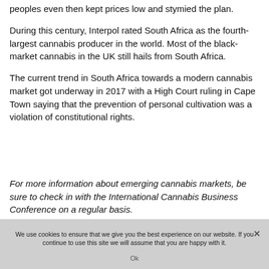peoples even then kept prices low and stymied the plan.
During this century, Interpol rated South Africa as the fourth-largest cannabis producer in the world. Most of the black-market cannabis in the UK still hails from South Africa.
The current trend in South Africa towards a modern cannabis market got underway in 2017 with a High Court ruling in Cape Town saying that the prevention of personal cultivation was a violation of constitutional rights.
For more information about emerging cannabis markets, be sure to check in with the International Cannabis Business Conference on a regular basis.
We use cookies to ensure that we give you the best experience on our website. If you continue to use this site we will assume that you are happy with it.